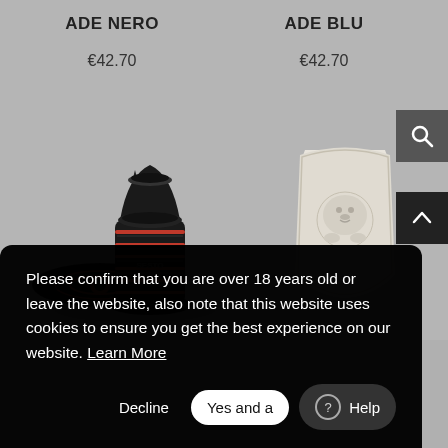ADE NERO
ADE BLU
€42.70
€42.70
[Figure (photo): Two black shisha bowl heads with red accent rings, stacked/overlapping]
[Figure (photo): A cream/white shisha bowl with lion emblem relief design]
Please confirm that you are over 18 years old or leave the website, also note that this website uses cookies to ensure you get the best experience on our website. Learn More
Decline
Yes and a
Help